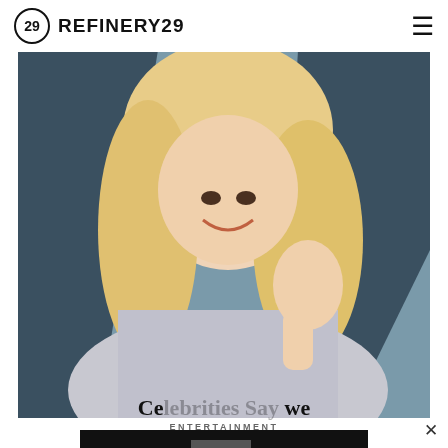REFINERY29
[Figure (photo): A blonde woman in a silver/sparkly dress waving at a camera at what appears to be a formal event, smiling broadly]
ENTERTAINMENT
[Figure (photo): Advertisement banner: BETRAYING THE BADGE on VICE TV]
Ce...we
Is Queer Representation